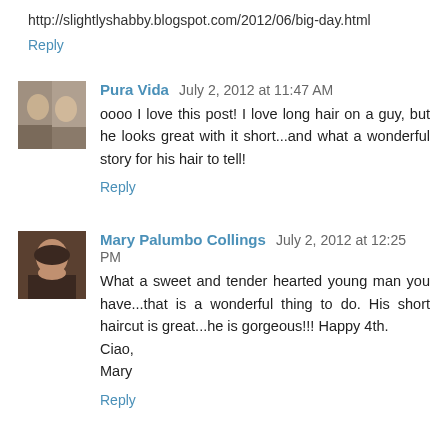http://slightlyshabby.blogspot.com/2012/06/big-day.html
Reply
Pura Vida  July 2, 2012 at 11:47 AM
oooo I love this post! I love long hair on a guy, but he looks great with it short...and what a wonderful story for his hair to tell!
Reply
Mary Palumbo Collings  July 2, 2012 at 12:25 PM
What a sweet and tender hearted young man you have...that is a wonderful thing to do. His short haircut is great...he is gorgeous!!! Happy 4th.
Ciao,
Mary
Reply